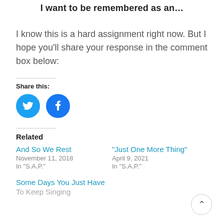I want to be remembered as an…
I know this is a hard assignment right now. But I hope you'll share your response in the comment box below:
Share this:
[Figure (other): Twitter and Facebook share buttons (circular blue icons)]
Related
And So We Rest
November 11, 2018
In "S.A.P."
"Just One More Thing"
April 9, 2021
In "S.A.P."
Some Days You Just Have To Keep Singing